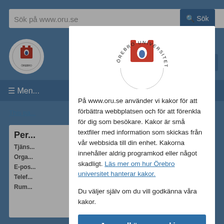[Figure (screenshot): Background of Örebro University website with search bar, navigation menu, and blurred content, overlaid with a cookie consent modal dialog]
[Figure (logo): Örebro Universitet circular logo with red castle/U shape and text around the circle]
På www.oru.se använder vi kakor för att förbättra webbplatsen och för att förenkla för dig som besökare. Kakor är små textfiler med information som skickas från vår webbsida till din enhet. Kakorna innehåller aldrig programkod eller något skadligt. Läs mer om hur Örebro universitet hanterar kakor.
Du väljer själv om du vill godkänna våra kakor.
Jag godkänner cookies
Spara inga cookies